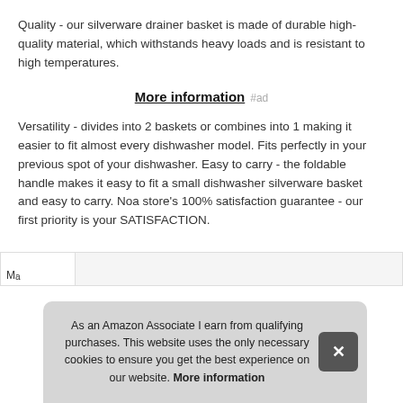Quality - our silverware drainer basket is made of durable high-quality material, which withstands heavy loads and is resistant to high temperatures.
More information #ad
Versatility - divides into 2 baskets or combines into 1 making it easier to fit almost every dishwasher model. Fits perfectly in your previous spot of your dishwasher. Easy to carry - the foldable handle makes it easy to fit a small dishwasher silverware basket and easy to carry. Noa store's 100% satisfaction guarantee - our first priority is your SATISFACTION.
As an Amazon Associate I earn from qualifying purchases. This website uses the only necessary cookies to ensure you get the best experience on our website. More information